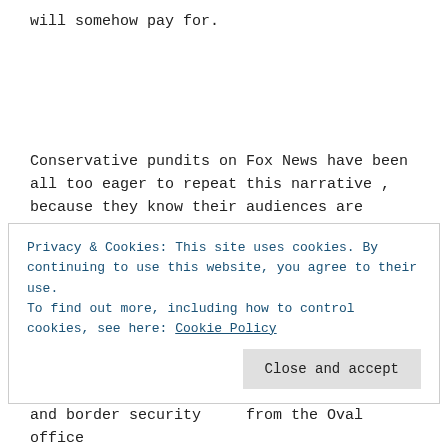will somehow pay for.
Conservative pundits on Fox News have been all too eager to repeat this narrative , because they know their audiences are extremely gullible and will believe whatever they're told. And during the mid-term elections they were told repeatedly that the migrant caravan was coming to
Privacy & Cookies: This site uses cookies. By continuing to use this website, you agree to their use.
To find out more, including how to control cookies, see here: Cookie Policy
Close and accept
and border security    from the Oval office